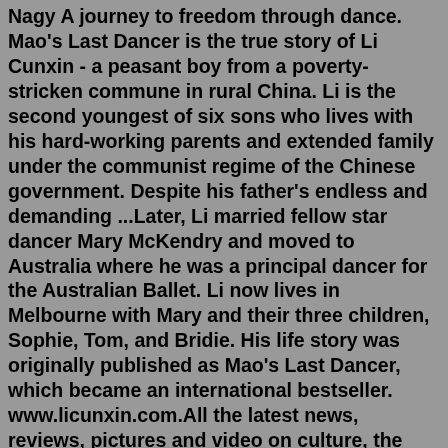Nagy A journey to freedom through dance. Mao's Last Dancer is the true story of Li Cunxin - a peasant boy from a poverty-stricken commune in rural China. Li is the second youngest of six sons who lives with his hard-working parents and extended family under the communist regime of the Chinese government. Despite his father's endless and demanding ...Later, Li married fellow star dancer Mary McKendry and moved to Australia where he was a principal dancer for the Australian Ballet. Li now lives in Melbourne with Mary and their three children, Sophie, Tom, and Bridie. His life story was originally published as Mao's Last Dancer, which became an international bestseller. www.licunxin.com.All the latest news, reviews, pictures and video on culture, the arts and entertainment. Li Cunxin was born in 1961 near the city of Qingdao on the coast of north-east China. The sixth of seven sons in a poor rual family Li's peasant life in Chairman Mao's communist china changed dramatically when he was chosen by Madame Mao's cultural advisers to become a student at the Beijing